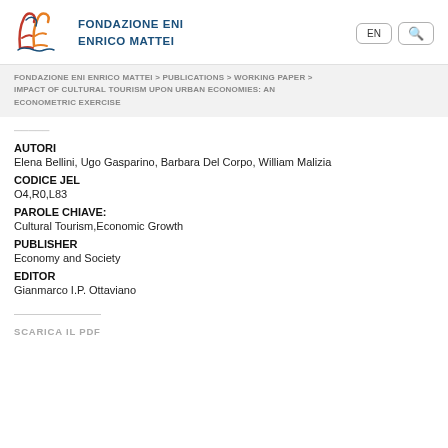FONDAZIONE ENI ENRICO MATTEI
FONDAZIONE ENI ENRICO MATTEI > PUBLICATIONS > WORKING PAPER > IMPACT OF CULTURAL TOURISM UPON URBAN ECONOMIES: AN ECONOMETRIC EXERCISE
AUTORI
Elena Bellini, Ugo Gasparino, Barbara Del Corpo, William Malizia
CODICE JEL
O4,R0,L83
PAROLE CHIAVE:
Cultural Tourism,Economic Growth
PUBLISHER
Economy and Society
EDITOR
Gianmarco I.P. Ottaviano
SCARICA IL PDF